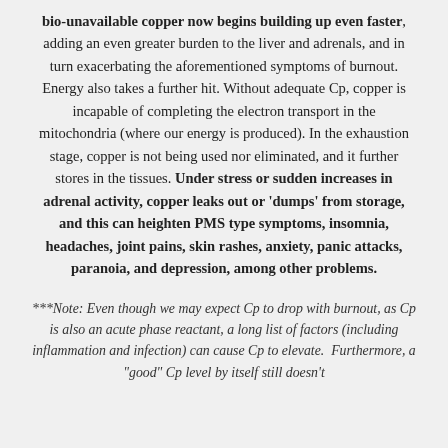bio-unavailable copper now begins building up even faster, adding an even greater burden to the liver and adrenals, and in turn exacerbating the aforementioned symptoms of burnout. Energy also takes a further hit. Without adequate Cp, copper is incapable of completing the electron transport in the mitochondria (where our energy is produced). In the exhaustion stage, copper is not being used nor eliminated, and it further stores in the tissues. Under stress or sudden increases in adrenal activity, copper leaks out or 'dumps' from storage, and this can heighten PMS type symptoms, insomnia, headaches, joint pains, skin rashes, anxiety, panic attacks, paranoia, and depression, among other problems.
***Note: Even though we may expect Cp to drop with burnout, as Cp is also an acute phase reactant, a long list of factors (including inflammation and infection) can cause Cp to elevate.  Furthermore, a "good" Cp level by itself still doesn't